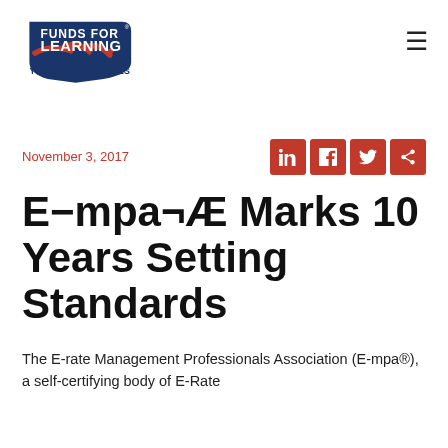[Figure (logo): Funds For Learning – Your E-Rate Guides logo with blue shield and red arrow]
November 3, 2017
E−mpa¬Æ Marks 10 Years Setting Standards
The E-rate Management Professionals Association (E-mpa®), a self-certifying body of E‑Rate